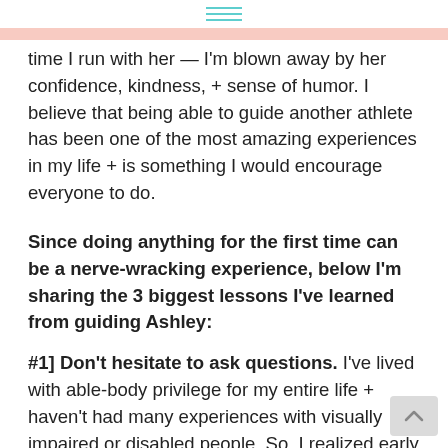≡
time I run with her — I'm blown away by her confidence, kindness, + sense of humor. I believe that being able to guide another athlete has been one of the most amazing experiences in my life + is something I would encourage everyone to do.
Since doing anything for the first time can be a nerve-wracking experience, below I'm sharing the 3 biggest lessons I've learned from guiding Ashley:
#1] Don't hesitate to ask questions. I've lived with able-body privilege for my entire life + haven't had many experiences with visually impaired or disabled people. So, I realized early on there is A LOT for me to learn! I sometimes would find myself not wanting to ask questions out of a fear of sounding ignorant... but I